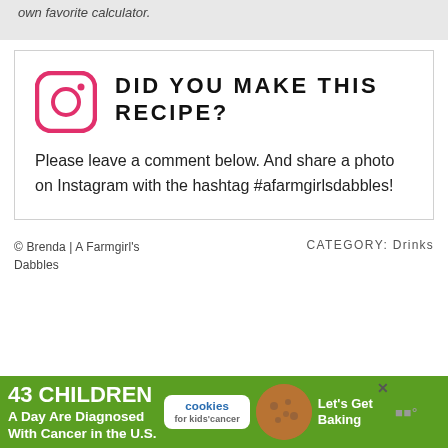own favorite calculator.
[Figure (logo): Instagram logo icon in red/pink gradient rounded square with circle and dot]
DID YOU MAKE THIS RECIPE?
Please leave a comment below. And share a photo on Instagram with the hashtag #afarmgirlsdabbles!
© Brenda | A Farmgirl's Dabbles
CATEGORY: Drinks
[Figure (infographic): Advertisement banner: green background, text '43 CHILDREN A Day Are Diagnosed With Cancer in the U.S.' with cookies for kids' cancer badge and 'Let's Get Baking' text on cookie image]